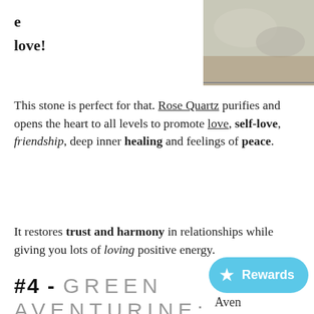[Figure (photo): Top portion of a photo showing rose quartz stones on a wooden surface, partially cropped at top of page. Left side shows text 'e love!' and right side shows the photo.]
This stone is perfect for that. Rose Quartz purifies and opens the heart to all levels to promote love, self-love, friendship, deep inner healing and feelings of peace.
It restores trust and harmony in relationships while giving you lots of loving positive energy.
#4 - GREEN AVENTURINE:
[Figure (photo): Bottom portion showing green aventurine stone with fibrous green and golden streaks, partially cropped at bottom of page.]
Aven